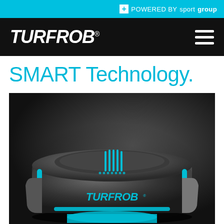+ POWERED BY sportgroup
TURFROB®
SMART Technology.
[Figure (photo): TurfRob robotic turf maintenance device — a sleek black rounded machine with cyan/blue accent stripes on top and sides, branded 'TURFROB®' on the front, photographed against a dark dramatic background.]